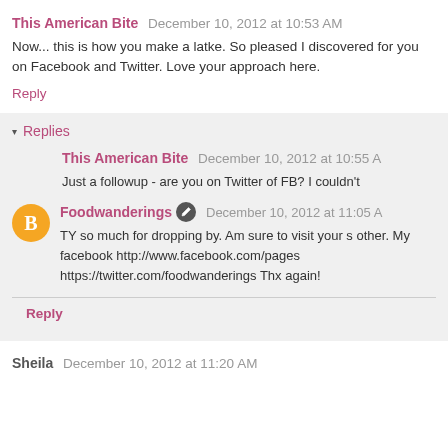This American Bite  December 10, 2012 at 10:53 AM
Now... this is how you make a latke. So pleased I discovered for you on Facebook and Twitter. Love your approach here.
Reply
Replies
This American Bite  December 10, 2012 at 10:55 AM
Just a followup - are you on Twitter of FB? I couldn't
Foodwanderings  December 10, 2012 at 11:05 A
TY so much for dropping by. Am sure to visit your s other. My facebook http://www.facebook.com/pages https://twitter.com/foodwanderings Thx again!
Reply
Sheila  December 10, 2012 at 11:20 AM